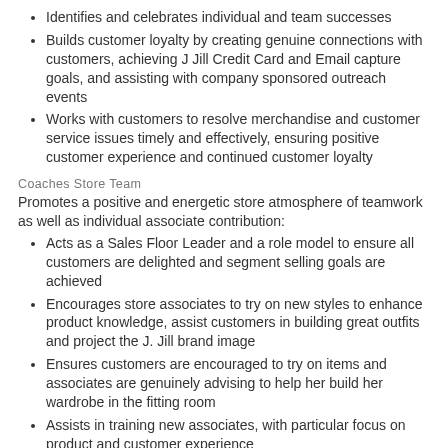Identifies and celebrates individual and team successes
Builds customer loyalty by creating genuine connections with customers, achieving J Jill Credit Card and Email capture goals, and assisting with company sponsored outreach events
Works with customers to resolve merchandise and customer service issues timely and effectively, ensuring positive customer experience and continued customer loyalty
Coaches Store Team
Promotes a positive and energetic store atmosphere of teamwork as well as individual associate contribution:
Acts as a Sales Floor Leader and a role model to ensure all customers are delighted and segment selling goals are achieved
Encourages store associates to try on new styles to enhance product knowledge, assist customers in building great outfits and project the J. Jill brand image
Ensures customers are encouraged to try on items and associates are genuinely advising to help her build her wardrobe in the fitting room
Assists in training new associates, with particular focus on product and customer experience
Visual Merchandising
We use cookies and other tracking technologies to assist with navigation